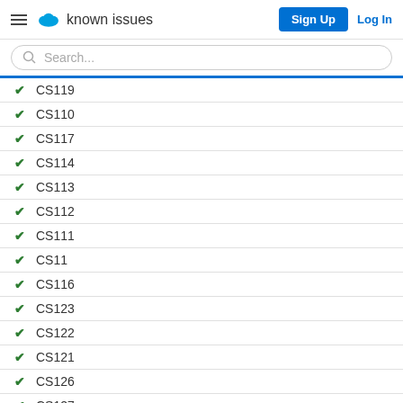known issues | Sign Up | Log In
Search...
CS119
CS110
CS117
CS114
CS113
CS112
CS111
CS11
CS116
CS123
CS122
CS121
CS126
CS127
CS129
CS128